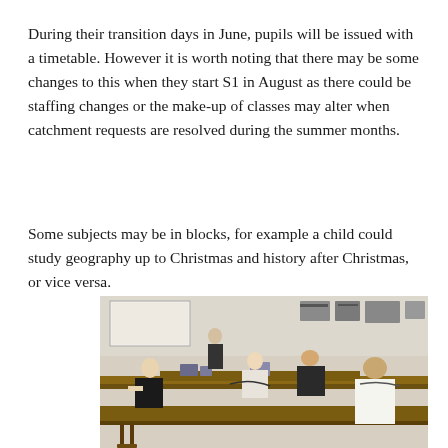During their transition days in June, pupils will be issued with a timetable. However it is worth noting that there may be some changes to this when they start S1 in August as there could be staffing changes or the make-up of classes may alter when catchment requests are resolved during the summer months.
Some subjects may be in blocks, for example a child could study geography up to Christmas and history after Christmas, or vice versa.
[Figure (photo): Students sitting at laboratory benches in a science classroom, working with equipment. Several students visible in black and white school uniforms, with lab/electronics equipment visible on the benches and shelves.]